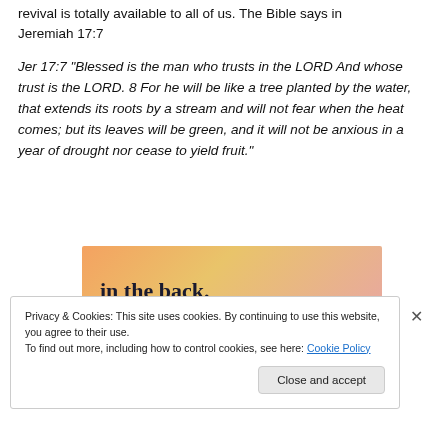revival is totally available to all of us. The Bible says in Jeremiah 17:7
Jer 17:7 "Blessed is the man who trusts in the LORD And whose trust is the LORD. 8 For he will be like a tree planted by the water, that extends its roots by a stream and will not fear when the heat comes; but its leaves will be green, and it will not be anxious in a year of drought nor cease to yield fruit."
[Figure (illustration): Advertisement banner with orange/pink gradient background and bold text 'in the back.']
Privacy & Cookies: This site uses cookies. By continuing to use this website, you agree to their use.
To find out more, including how to control cookies, see here: Cookie Policy
Close and accept